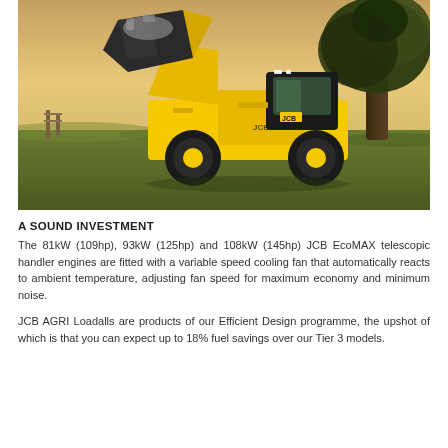[Figure (photo): A JCB yellow telescopic handler (Loadall) lifting a full bucket of material in a green field at golden hour, with a large tree in the background.]
A SOUND INVESTMENT
The 81kW (109hp), 93kW (125hp) and 108kW (145hp) JCB EcoMAX telescopic handler engines are fitted with a variable speed cooling fan that automatically reacts to ambient temperature, adjusting fan speed for maximum economy and minimum noise.
JCB AGRI Loadalls are products of our Efficient Design programme, the upshot of which is that you can expect up to 18% fuel savings over our Tier 3 models.